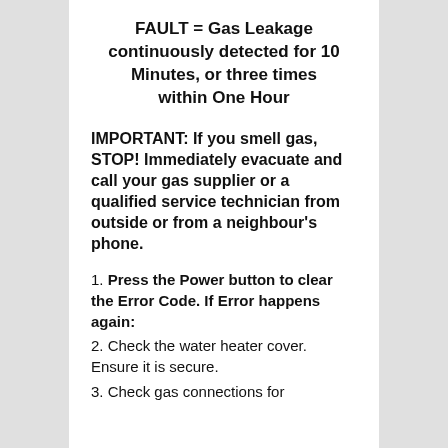FAULT = Gas Leakage continuously detected for 10 Minutes, or three times within One Hour
IMPORTANT: If you smell gas, STOP! Immediately evacuate and call your gas supplier or a qualified service technician from outside or from a neighbour's phone.
1. Press the Power button to clear the Error Code. If Error happens again:
2. Check the water heater cover. Ensure it is secure.
3. Check gas connections for